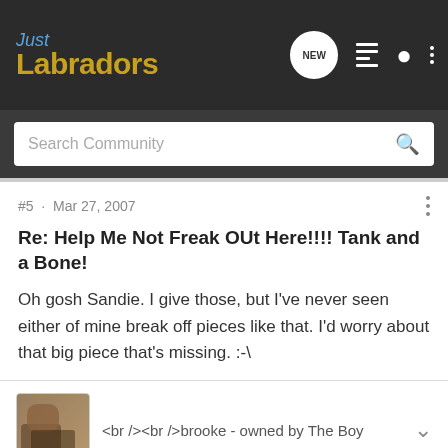Just Labradors
Search Community
#5 · Mar 27, 2007
Re: Help Me Not Freak OUt Here!!!! Tank and a Bone!
Oh gosh Sandie. I give those, but I've never seen either of mine break off pieces like that. I'd worry about that big piece that's missing. :-\
[Figure (photo): Small avatar thumbnail photo of a dog or pet]
<br /><br />brooke - owned by The Boy
AbbvandMolly · Registered